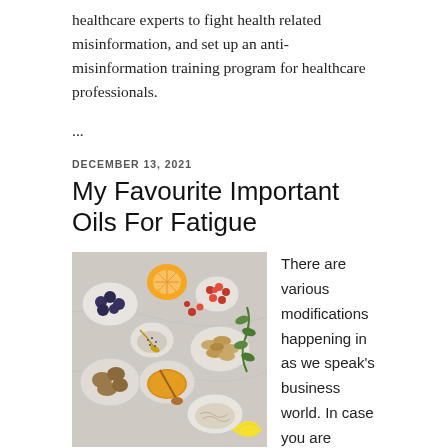healthcare experts to fight health related misinformation, and set up an anti-misinformation training program for healthcare professionals.
...
DECEMBER 13, 2021
My Favourite Important Oils For Fatigue
[Figure (photo): Overhead photo of various bowls containing blueberries, walnuts, almonds, honey, oats, pomegranate seeds, chia seeds, along with orange slices, herbs, and a honey dipper on a light marble surface.]
There are various modifications happening in as we speak's business world. In case you are suffering from despair, a mental sickness, mood disorder, emotional downside, anger, or anxiety, you possibly can profit from